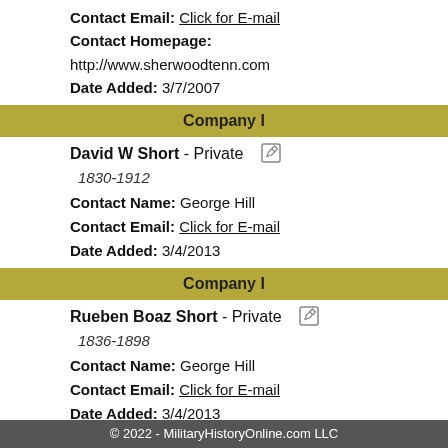Contact Email: Click for E-mail
Contact Homepage: http://www.sherwoodtenn.com
Date Added: 3/7/2007
Company I
David W Short - Private
1830-1912
Contact Name: George Hill
Contact Email: Click for E-mail
Date Added: 3/4/2013
Company I
Rueben Boaz Short - Private
1836-1898
Contact Name: George Hill
Contact Email: Click for E-mail
Date Added: 3/4/2013
Company K
James P Byrne - 2nd Lieutenant
Enlisted 6/9/1861 Camp Trousdale 12 months. Elected 2nd Corporal 12/23/1862, to replace G M Bruce who was captured. Captured near Chickamuga 9/19/1863. Paroled at Military Prison Louisville Ky 10/5/1863.
© 2022 - MilitaryHistoryOnline.com LLC